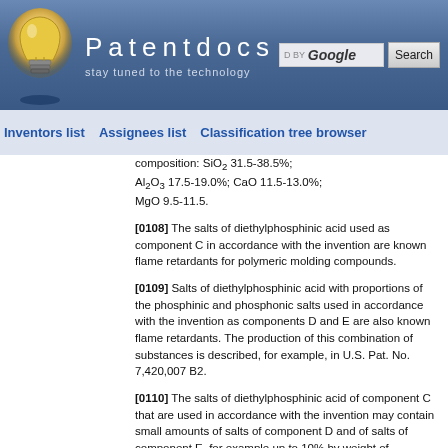[Figure (screenshot): Patentdocs website header with lightbulb logo, site title 'Patentdocs', tagline 'stay tuned to the technology', Google search box and Search button]
Inventors list   Assignees list   Classification tree browser
composition: SiO.sub.2 31.5-38.5%; Al.sub.2O.sub.3 17.5-19.0%; CaO 11.5-13.0%; MgO 9.5-11.5.
[0108] The salts of diethylphosphinic acid used as component C in accordance with the invention are known flame retardants for polymeric molding compounds.
[0109] Salts of diethylphosphinic acid with proportions of the phosphinic and phosphonic salts used in accordance with the invention as components D and E are also known flame retardants. The production of this combination of substances is described, for example, in U.S. Pat. No. 7,420,007 B2.
[0110] The salts of diethylphosphinic acid of component C that are used in accordance with the invention may contain small amounts of salts of component D and of salts of component E, for example up to 10% by weight of component D, and up to 0.01% to 2% by weight, and especially...